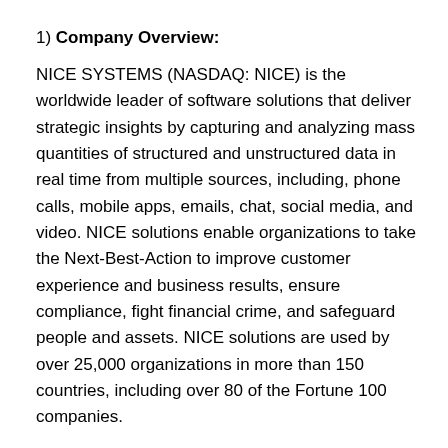1) Company Overview:
NICE SYSTEMS (NASDAQ: NICE) is the worldwide leader of software solutions that deliver strategic insights by capturing and analyzing mass quantities of structured and unstructured data in real time from multiple sources, including, phone calls, mobile apps, emails, chat, social media, and video. NICE solutions enable organizations to take the Next-Best-Action to improve customer experience and business results, ensure compliance, fight financial crime, and safeguard people and assets. NICE solutions are used by over 25,000 organizations in more than 150 countries, including over 80 of the Fortune 100 companies.
2) Make the Case: